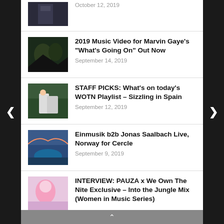[Figure (screenshot): Website listing of music blog articles with thumbnails and dates]
October 12, 2019
2019 Music Video for Marvin Gaye’s “What’s Going On” Out Now
September 14, 2019
STAFF PICKS: What’s on today’s WOTN Playlist – Sizzling in Spain
September 12, 2019
Einmusik b2b Jonas Saalbach Live, Norway for Cercle
September 9, 2019
INTERVIEW: PAUZA x We Own The Nite Exclusive – Into the Jungle Mix (Women in Music Series)